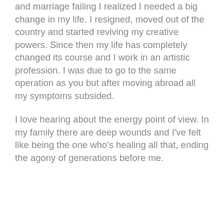and marriage failing I realized I needed a big change in my life. I resigned, moved out of the country and started reviving my creative powers. Since then my life has completely changed its course and I work in an artistic profession. I was due to go to the same operation as you but after moving abroad all my symptoms subsided.
I love hearing about the energy point of view. In my family there are deep wounds and I've felt like being the one who's healing all that, ending the agony of generations before me.